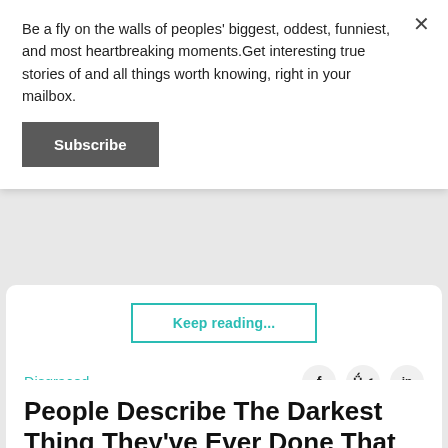Be a fly on the walls of peoples' biggest, oddest, funniest, and most heartbreaking moments.Get interesting true stories of and all things worth knowing, right in your mailbox.
Subscribe
Keep reading...
Disgraced
People Describe The Darkest Thing They've Ever Done That They Don't Regret